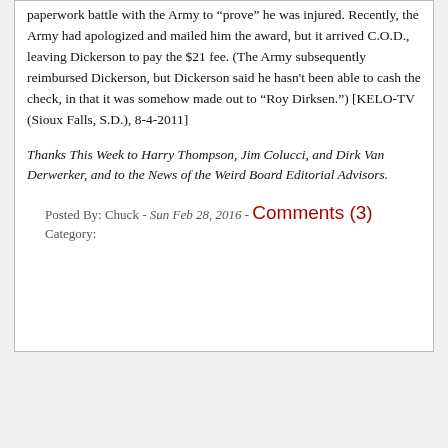paperwork battle with the Army to "prove" he was injured. Recently, the Army had apologized and mailed him the award, but it arrived C.O.D., leaving Dickerson to pay the $21 fee. (The Army subsequently reimbursed Dickerson, but Dickerson said he hasn't been able to cash the check, in that it was somehow made out to "Roy Dirksen.") [KELO-TV (Sioux Falls, S.D.), 8-4-2011]
Thanks This Week to Harry Thompson, Jim Colucci, and Dirk Van Derwerker, and to the News of the Weird Board Editorial Advisors.
Posted By: Chuck - Sun Feb 28, 2016 - Comments (3)
Category: